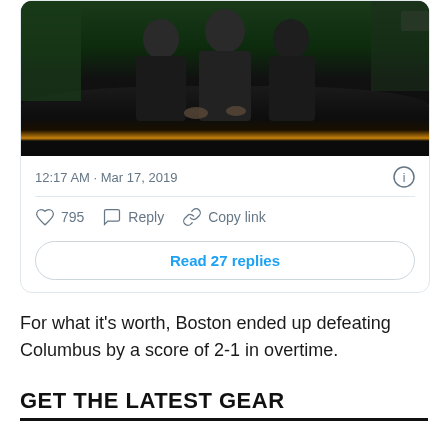[Figure (screenshot): Embedded tweet screenshot showing a TV news studio photo. Timestamp reads 12:17 AM · Mar 17, 2019. Actions: heart icon with 795 likes, Reply, Copy link. Button: Read 27 replies.]
For what it's worth, Boston ended up defeating Columbus by a score of 2-1 in overtime.
GET THE LATEST GEAR
UFC 230 Artist Series Event T-Shirt